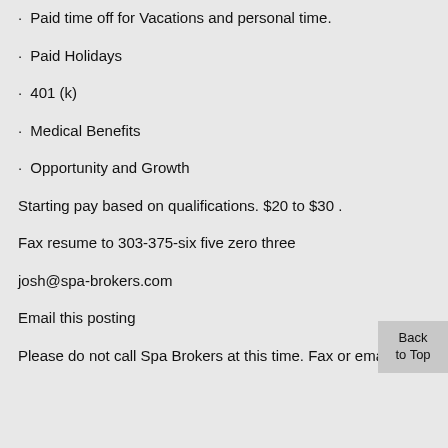Paid time off for Vacations and personal time.
Paid Holidays
401 (k)
Medical Benefits
Opportunity and Growth
Starting pay based on qualifications. $20 to $30 .
Fax resume to 303-375-six five zero three
josh@spa-brokers.com
Email this posting
Please do not call Spa Brokers at this time. Fax or email your